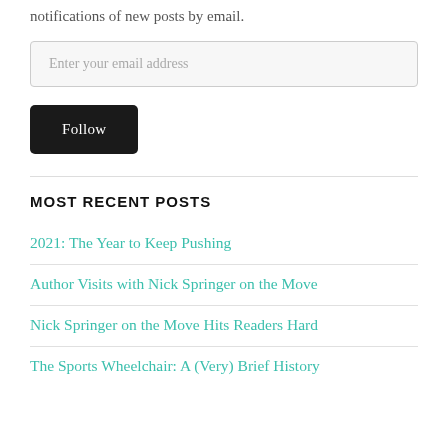notifications of new posts by email.
Enter your email address
Follow
MOST RECENT POSTS
2021: The Year to Keep Pushing
Author Visits with Nick Springer on the Move
Nick Springer on the Move Hits Readers Hard
The Sports Wheelchair: A (Very) Brief History